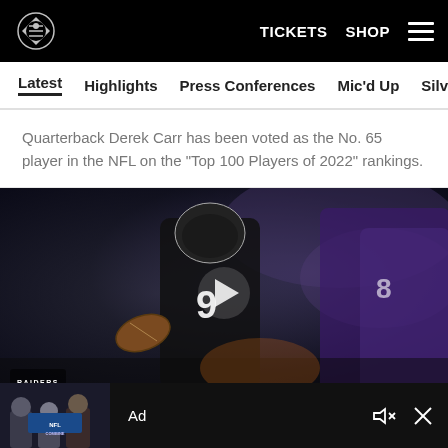Raiders | TICKETS  SHOP  ☰
Latest  Highlights  Press Conferences  Mic'd Up  Silver & Black
Quarterback Derek Carr has been voted as the No. 65 player in the NFL on the "Top 100 Players of 2022" rankings.
[Figure (photo): Derek Carr, Raiders quarterback wearing jersey number 9, preparing to throw a football during a game against the Minnesota Vikings. A play button overlay is visible in the center of the image. Raiders watermark visible in bottom-left corner.]
Ad